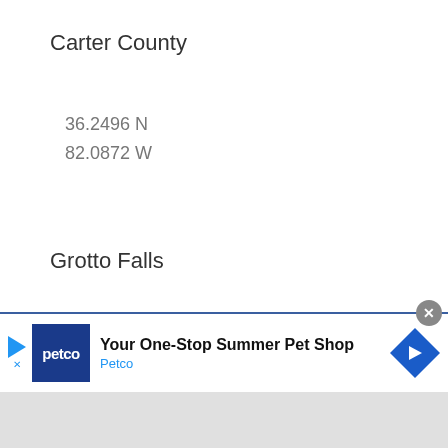Carter County
36.2496 N
82.0872 W
Grotto Falls
Sevier County
35.6739 N
83.4496 W
[Figure (infographic): Petco advertisement banner: 'Your One-Stop Summer Pet Shop' with Petco logo and navigation arrow icon]